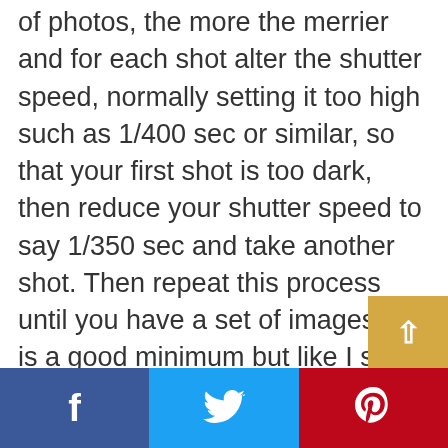of photos, the more the merrier and for each shot alter the shutter speed, normally setting it too high such as 1/400 sec or similar, so that your first shot is too dark, then reduce your shutter speed to say 1/350 sec and take another shot. Then repeat this process until you have a set of images, 5 is a good minimum but like I said before the more the merrier. For some amazing example of the techniques we will cover here please take a look at the International Hall of Fames Terry Day's work and his course.
You now have a set of bracketed
[Figure (infographic): Social share bar at bottom with Facebook (blue), Twitter (light blue), and Pinterest (red) buttons, plus a scroll-to-top button (gold/orange) with an up arrow on the right side]